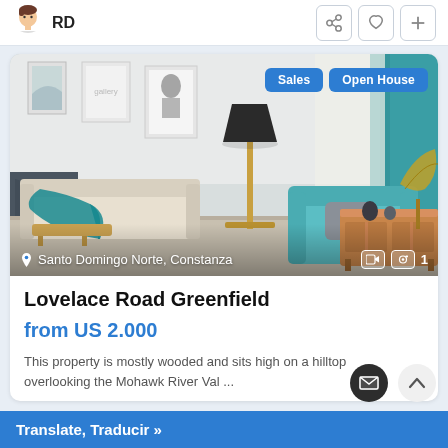RD
[Figure (photo): Interior living room photo showing a modern space with teal sofa, floor lamp, wall art, teal curtains, and a wooden sideboard. Badges 'Sales' and 'Open House' in blue. Location: Santo Domingo Norte, Constanza. Media icons bottom right.]
Lovelace Road Greenfield
from US 2.000
This property is mostly wooded and sits high on a hilltop overlooking the Mohawk River Val ...
Translate, Traducir »